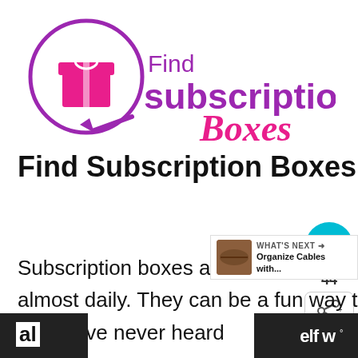[Figure (logo): Find Subscription Boxes logo: pink gift box icon inside a purple circle with a magnifying glass arrow, text 'Find subscription Boxes' in purple and pink script]
Find Subscription Boxes That are Right for You
Subscription boxes are hot right now and there's new ones coming out almost daily. They can be a fun way to learn about products that you may have never heard of before yourself.